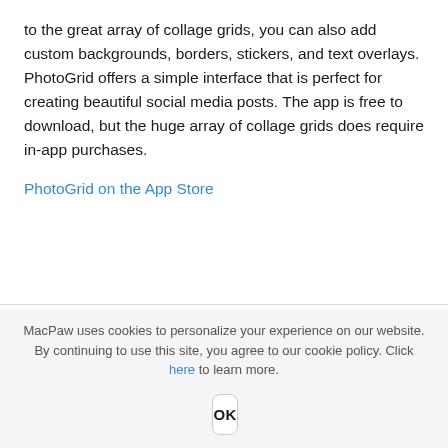to the great array of collage grids, you can also add custom backgrounds, borders, stickers, and text overlays. PhotoGrid offers a simple interface that is perfect for creating beautiful social media posts. The app is free to download, but the huge array of collage grids does require in-app purchases.
PhotoGrid on the App Store
MacPaw uses cookies to personalize your experience on our website. By continuing to use this site, you agree to our cookie policy. Click here to learn more.
OK